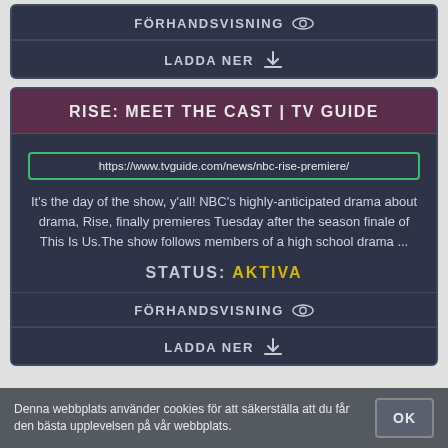FÖRHANDSVISNING
LADDA NER
RISE: MEET THE CAST | TV GUIDE
https://www.tvguide.com/news/nbc-rise-premiere/
It's the day of the show, y'all! NBC's highly-anticipated drama about drama, Rise, finally premieres Tuesday after the season finale of This Is Us.The show follows members of a high school drama ...
STATUS: AKTIVA
FÖRHANDSVISNING
LADDA NER
Denna webbplats använder cookies för att säkerställa att du får den bästa upplevelsen på vår webbplats.